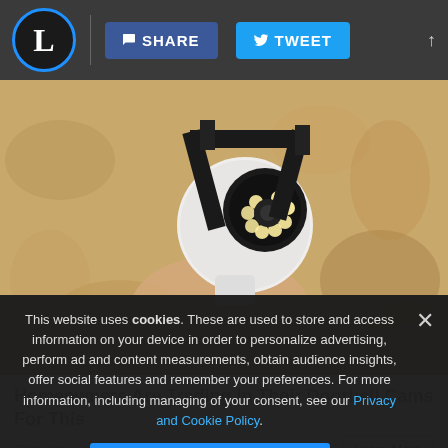L | SHARE  TWEET
[Figure (photo): A hand holding a white security camera with LED ring mounted on a black bracket against a sandy/concrete wall background.]
Homeowners Are Trading In Their Doorbell Cams For This
Camerca   Learn More
This website uses cookies. These are used to store and access information on your device in order to personalize advertising, perform ad and content measurements, obtain audience insights, offer social features and remember your preferences. For more information, including managing of your consent, see our Privacy and Cookie Policy.
ACCEPT